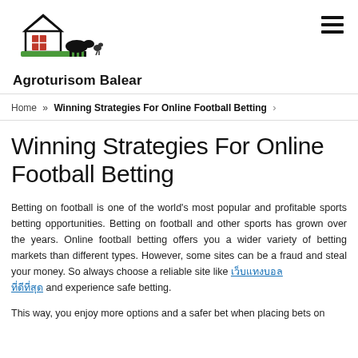Agroturisom Balear
Home » Winning Strategies For Online Football Betting
Winning Strategies For Online Football Betting
Betting on football is one of the world's most popular and profitable sports betting opportunities. Betting on football and other sports has grown over the years. Online football betting offers you a wider variety of betting markets than different types. However, some sites can be a fraud and steal your money. So always choose a reliable site like [link] and experience safe betting.
This way, you enjoy more options and a safer bet when placing bets on